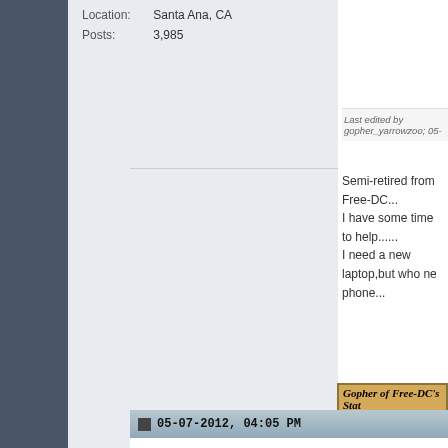Location: Santa Ana, CA
Posts: 3,985
Last edited by gopher_yarrowzoo; 05-...
Semi-retired from Free-DC...
I have some time to help......
I need a new laptop,but who ne phone...
[Figure (table-as-image): Gopher of Free-DC's Stats table showing credits for various distributed computing projects including DistrRTgen 662,128, Docking@Home 436,203, Spinhenge@Home 394,432, Poem@Home 394,305, Einstein@Home 200,244, FreeHAL@Home 104,422, RNA World 101,589, Rosetta@Home 52,680, Constellation@Home 36,436, World Community Grid 14,672, Combined Score 2,397,110 with Free-DC branding]
05-07-2012, 04:05 PM